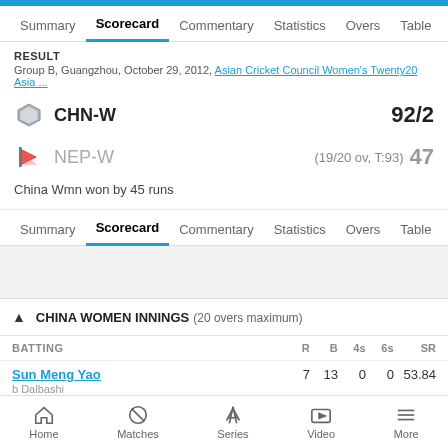top blue bar
Summary | Scorecard | Commentary | Statistics | Overs | Table
RESULT
Group B, Guangzhou, October 29, 2012, Asian Cricket Council Women's Twenty20 Asia ...
CHN-W  92/2
NEP-W  (19/20 ov, T:93) 47
China Wmn won by 45 runs
Summary | Scorecard | Commentary | Statistics | Overs | Table
▲ CHINA WOMEN INNINGS (20 overs maximum)
| BATTING | R | B | 4s | 6s | SR |
| --- | --- | --- | --- | --- | --- |
| Sun Meng Yao | 7 | 13 | 0 | 0 | 53.84 |
Home | Matches | Series | Video | More